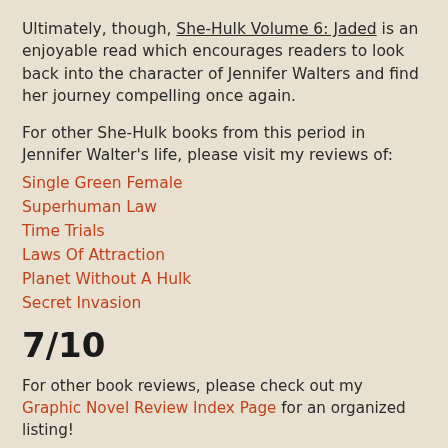Ultimately, though, She-Hulk Volume 6: Jaded is an enjoyable read which encourages readers to look back into the character of Jennifer Walters and find her journey compelling once again.
For other She-Hulk books from this period in Jennifer Walter's life, please visit my reviews of:
Single Green Female
Superhuman Law
Time Trials
Laws Of Attraction
Planet Without A Hulk
Secret Invasion
7/10
For other book reviews, please check out my Graphic Novel Review Index Page for an organized listing!
© 2016 W.L. Swarts. May not be reprinted without